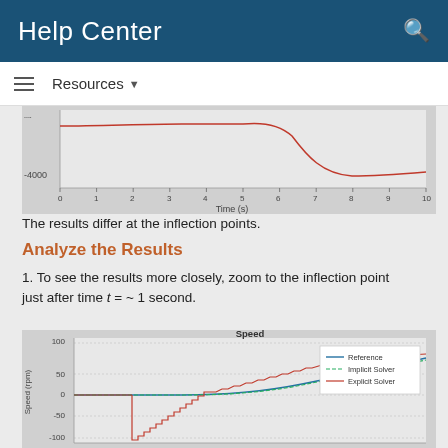Help Center
Resources
[Figure (continuous-plot): Partial line chart showing time (s) on x-axis (0-10) and y-axis with value -4000 visible. Red curve dips down around time 5-8. Title and y-label not fully visible.]
The results differ at the inflection points.
Analyze the Results
1. To see the results more closely, zoom to the inflection point just after time t = ~ 1 second.
[Figure (continuous-plot): Line chart titled 'Speed' with y-axis labeled Speed (rpm), showing three series: Reference (blue), Implicit Solver (green dashed), Explicit Solver (red). Y-axis ranges from approximately -100 to 100. Red line shows staircase behavior dropping to -100 then rising. Blue and green lines near 0 then rising smoothly.]